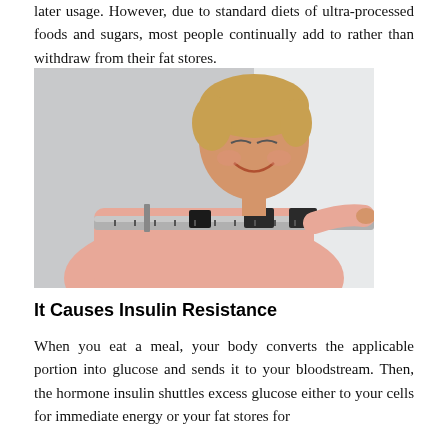later usage. However, due to standard diets of ultra-processed foods and sugars, most people continually add to rather than withdraw from their fat stores.
[Figure (photo): A smiling middle-aged woman with short blonde hair holding a balance beam scale, wearing a pink top, photographed against a light background.]
It Causes Insulin Resistance
When you eat a meal, your body converts the applicable portion into glucose and sends it to your bloodstream. Then, the hormone insulin shuttles excess glucose either to your cells for immediate energy or your fat stores for